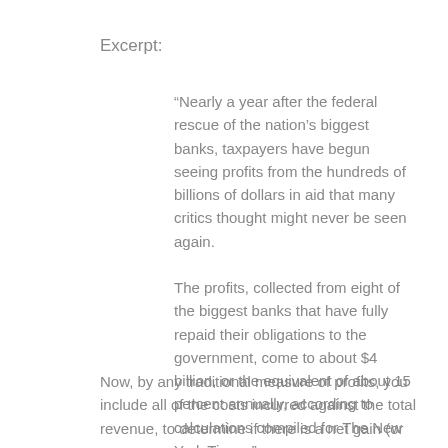Excerpt:
“Nearly a year after the federal rescue of the nation’s biggest banks, taxpayers have begun seeing profits from the hundreds of billions of dollars in aid that many critics thought might never be seen again.

The profits, collected from eight of the biggest banks that have fully repaid their obligations to the government, come to about $4 billion, or the equivalent of about 15 percent annually, according to calculations compiled for The New York Times.”
Now, by any traditional measure of profits, you include all of the costs incurred against the total revenue, to determine if there is a net gain (or